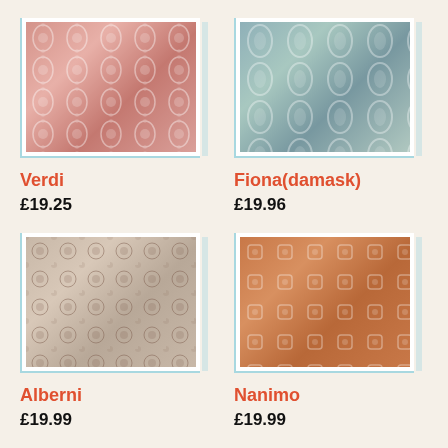[Figure (photo): Verdi fabric swatch - pink/red damask floral pattern]
Verdi
£19.25
[Figure (photo): Fiona(damask) fabric swatch - blue/teal damask pattern]
Fiona(damask)
£19.96
[Figure (photo): Alberni fabric swatch - floral pattern on cream background]
Alberni
£19.99
[Figure (photo): Nanimo fabric swatch - terracotta/orange with small motifs]
Nanimo
£19.99
[Figure (photo): Bottom-left fabric swatch - grey/taupe damask pattern]
[Figure (photo): Bottom-right fabric swatch - gold/brown damask pattern]